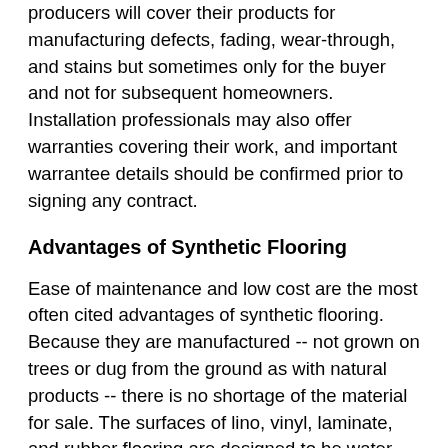producers will cover their products for manufacturing defects, fading, wear-through, and stains but sometimes only for the buyer and not for subsequent homeowners. Installation professionals may also offer warranties covering their work, and important warrantee details should be confirmed prior to signing any contract.
Advantages of Synthetic Flooring
Ease of maintenance and low cost are the most often cited advantages of synthetic flooring. Because they are manufactured -- not grown on trees or dug from the ground as with natural products -- there is no shortage of the material for sale. The surfaces of lino, vinyl, laminate, and rubber flooring are designed to be water and scratch resistant. The cushioned under-layer to most synthetic flooring also makes it more comfortable, especially in the kitchen where standing for long periods of time is common.
Some synthetic flooring materials are valued in non-allergenic